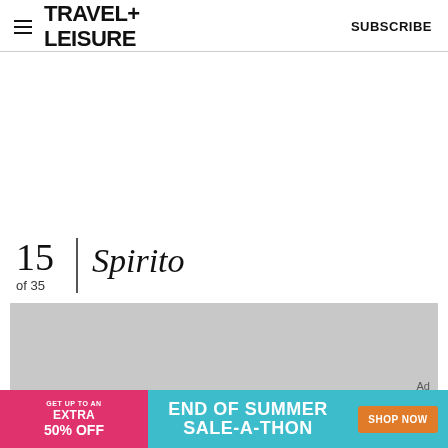TRAVEL+LEISURE  SUBSCRIBE
[Figure (other): White advertisement space placeholder]
15
of 35
Spirito
[Figure (other): Gray advertisement placeholder box with 'Ad' label]
[Figure (infographic): Banner advertisement: GET UP TO AN EXTRA 50% OFF | END OF SUMMER SALE-A-THON | SHOP NOW]